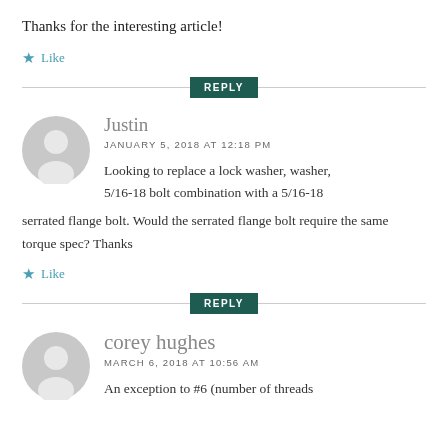Thanks for the interesting article!
★ Like
REPLY
Justin
JANUARY 5, 2018 AT 12:18 PM
Looking to replace a lock washer, washer, 5/16-18 bolt combination with a 5/16-18 serrated flange bolt. Would the serrated flange bolt require the same torque spec? Thanks
★ Like
REPLY
corey hughes
MARCH 6, 2018 AT 10:56 AM
An exception to #6 (number of threads